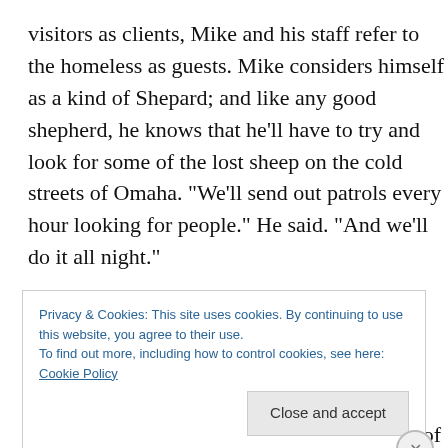visitors as clients, Mike and his staff refer to the homeless as guests. Mike considers himself as a kind of Shepard; and like any good shepherd, he knows that he'll have to try and look for some of the lost sheep on the cold streets of Omaha. “We’ll send out patrols every hour looking for people.” He said. “And we’ll do it all night.”
Teens are especially vulnerable when the weather turns cold. Because of young people aging out of foster care system or an abusive family situation, many youth end up on the streets to fend for themselves. Shawn Miller of
Privacy & Cookies: This site uses cookies. By continuing to use this website, you agree to their use.
To find out more, including how to control cookies, see here: Cookie Policy
Close and accept